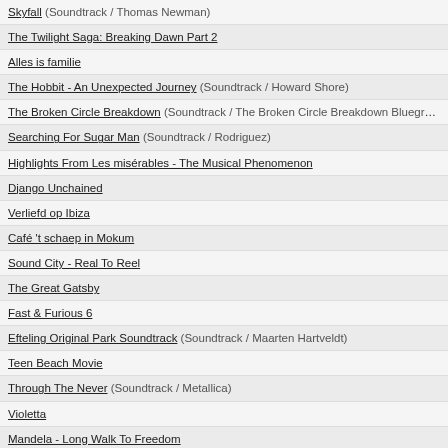Skyfall (Soundtrack / Thomas Newman)
The Twilight Saga: Breaking Dawn Part 2
Alles is familie
The Hobbit - An Unexpected Journey (Soundtrack / Howard Shore)
The Broken Circle Breakdown (Soundtrack / The Broken Circle Breakdown Bluegrass Band)
Searching For Sugar Man (Soundtrack / Rodriguez)
Highlights From Les misérables - The Musical Phenomenon
Django Unchained
Verliefd op Ibiza
Café 't schaep in Mokum
Sound City - Real To Reel
The Great Gatsby
Fast & Furious 6
Efteling Original Park Soundtrack (Soundtrack / Maarten Hartveldt)
Teen Beach Movie
Through The Never (Soundtrack / Metallica)
Violetta
Mandela - Long Walk To Freedom
The Hobbit - The Desolation Of Smaug (Soundtrack / Howard Shore)
Frozen
La grande bellezza
Violetta - Hoy somos más
Marvel's Guardians Of The Galaxy - Awesome Mix Vol. 1
Violetta - En vivo
Interstellar (Soundtrack / Hans Zimmer)
The Hobbit - The Battle Of The Five Armies (Soundtrack / Howard Shore)